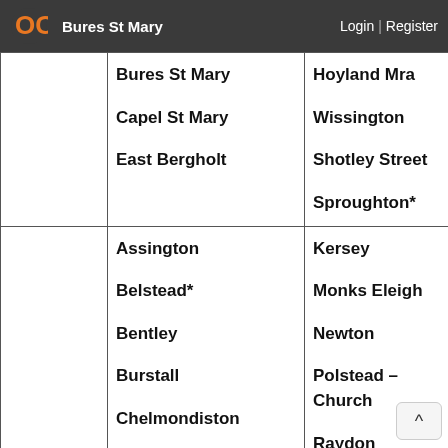Bures St Mary  Login | Register
|  |  |  |
| --- | --- | --- |
|  | Bures St Mary
Capel St Mary
East Bergholt | Hoyland Mra
Wissington
Shotley Street
Sproughton* |
|  | Assington
Belstead*
Bentley
Burstall
Chelmondiston
Chilton
Cockfield - Hown Lane | Kersey
Monks Eleigh
Newton
Polstead – Church
Raydon
Shotley Gate
Stoke by |